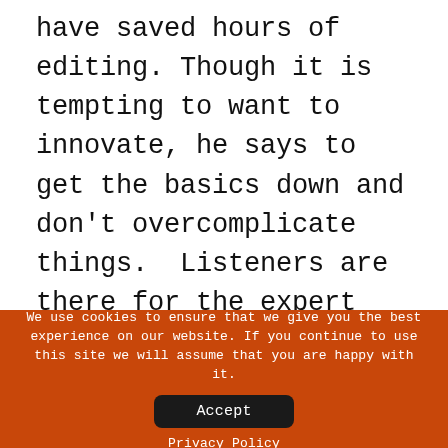have saved hours of editing. Though it is tempting to want to innovate, he says to get the basics down and don't overcomplicate things.  Listeners are there for the expert content and don't care about a spiffy sounding intro by a third party.  One area where Matt says he made the right call was by not posting video as part of his podcast.  He refrained from this primarily because video
We use cookies to ensure that we give you the best experience on our website. If you continue to use this site we will assume that you are happy with it.
Accept
Privacy Policy